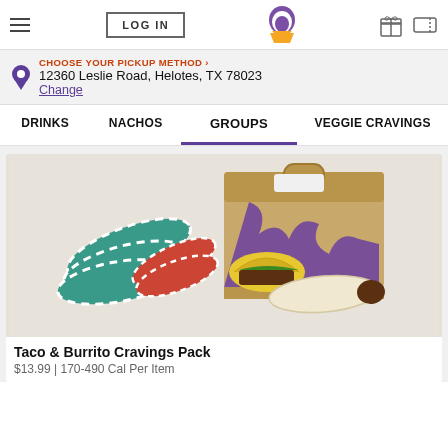LOG IN | Taco Bell | Gift | Ticket
CHOOSE YOUR PICKUP METHOD ›
12360 Leslie Road, Helotes, TX 78023
Change
DRINKS  NACHOS  GROUPS  VEGGIE CRAVINGS
[Figure (photo): Taco Bell Taco & Burrito Cravings Pack product photo showing wrapped burritos, tacos, and a Taco Bell branded cardboard box]
Taco & Burrito Cravings Pack
$13.99 | 170-490 Cal Per Item